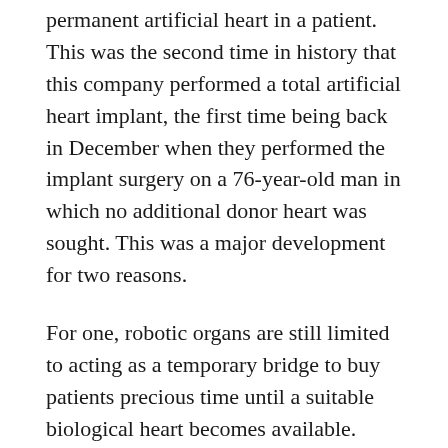permanent artificial heart in a patient. This was the second time in history that this company performed a total artificial heart implant, the first time being back in December when they performed the implant surgery on a 76-year-old man in which no additional donor heart was sought. This was a major development for two reasons.
For one, robotic organs are still limited to acting as a temporary bridge to buy patients precious time until a suitable biological heart becomes available. Second, transplanted biological hearts, while often successful, are very difficult to come by due to a shortage of suitable organs. Over 100,000 people around the world at any given time are waiting for a heart and there simply are not enough healthy hearts available for the thousands who need them.